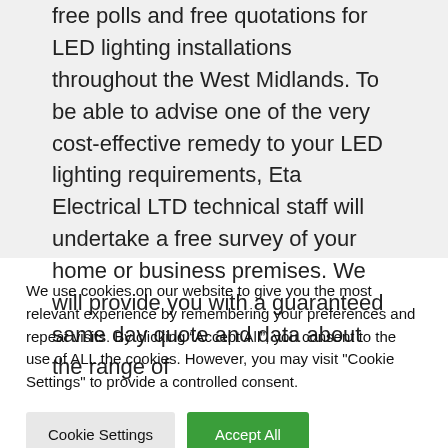free polls and free quotations for LED lighting installations throughout the West Midlands. To be able to advise one of the very cost-effective remedy to your LED lighting requirements, Eta Electrical LTD technical staff will undertake a free survey of your home or business premises. We will provide you with a guaranteed same day quote and data about the range of
We use cookies on our website to give you the most relevant experience by remembering your preferences and repeat visits. By clicking “Accept All”, you consent to the use of ALL the cookies. However, you may visit "Cookie Settings" to provide a controlled consent.